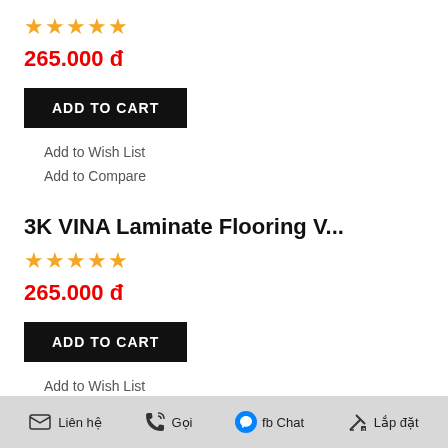★★★★★ (5 stars)
265.000 đ
ADD TO CART
Add to Wish List
Add to Compare
3K VINA Laminate Flooring V...
★★★★★ (5 stars)
265.000 đ
ADD TO CART
Add to Wish List
Add to Compare
3K VINA Laminate Flooring V...
★★★★★ (5 stars)
✉ Liên hệ  📞 Gọi  fb Chat  🔧 Lắp đặt